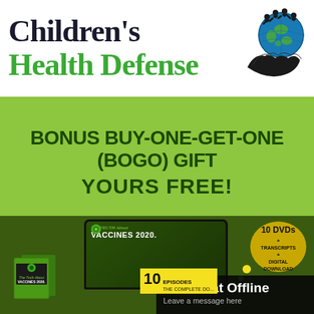[Figure (logo): Children's Health Defense logo with globe and hands icon]
BONUS BUY-ONE-GET-ONE (BOGO) GIFT YOURS FREE!
[Figure (infographic): Product promotion showing Truth About Vaccines 2020 DVD set with BUY ONE GET ONE FREE badge, 10 DVDs + Transcripts + Digital Download, two presenters, 10 Episodes, Live Chat Offline overlay]